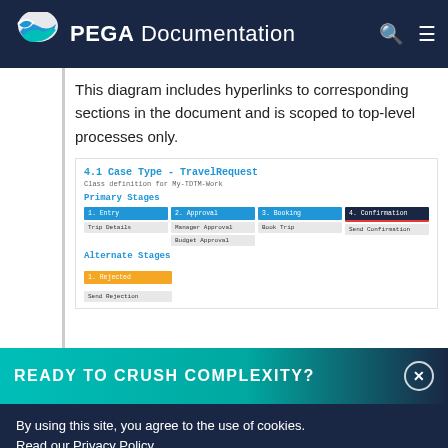PEGA Documentation
This diagram includes hyperlinks to corresponding sections in the document and is scoped to top-level processes only.
[Figure (screenshot): Pega documentation diagram showing Case Type TravelRequest with Primary Stages (1. Entry: Trip Details; 2. Approval: Manager Approval, Budget Approval; 3. Booking: Book Trip; 4. Confirmation: Send Confirmation) and Alternate Stages (1. Rejected: Send Rejection)]
READY TO CRUSH COMPLEXITY?
By using this site, you agree to the use of cookies. Read our Privacy Policy